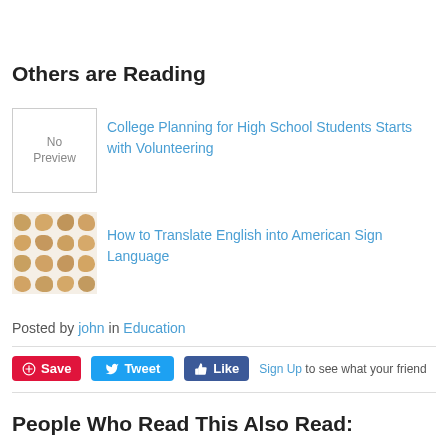Others are Reading
[Figure (illustration): No Preview placeholder box for article thumbnail]
College Planning for High School Students Starts with Volunteering
[Figure (photo): Image showing multiple hands making sign language gestures arranged in a grid pattern]
How to Translate English into American Sign Language
Posted by john in Education
Save  Tweet  Like  Sign Up to see what your friend
People Who Read This Also Read: